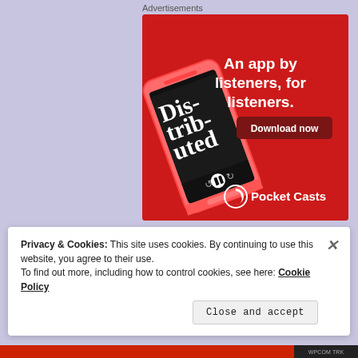Advertisements
[Figure (illustration): Pocket Casts app advertisement on red background showing a smartphone with 'Distributed' podcast playing. Text reads 'An app by listeners, for listeners.' with a 'Download now' button and Pocket Casts logo.]
Privacy & Cookies: This site uses cookies. By continuing to use this website, you agree to their use.
To find out more, including how to control cookies, see here: Cookie Policy
Close and accept